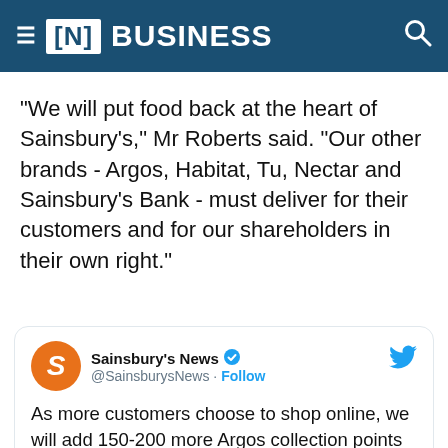[N] BUSINESS
"We will put food back at the heart of Sainsbury's," Mr Roberts said. "Our other brands - Argos, Habitat, Tu, Nectar and Sainsbury's Bank - must deliver for their customers and for our shareholders in their own right."
[Figure (screenshot): Embedded tweet from @SainsburysNews: 'As more customers choose to shop online, we will add 150-200 more Argos collection points in supermarkets and convenience stores and open up to 150 more Argos stores in Sainsbury's. We']